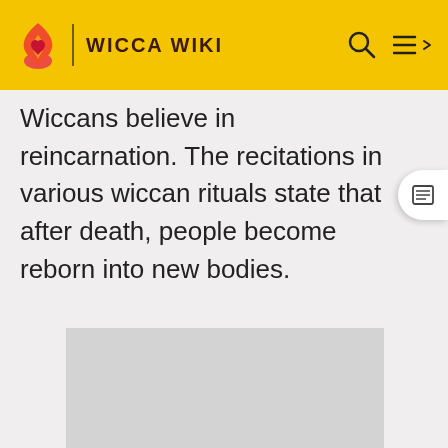WICCA WIKI
Wiccans believe in reincarnation. The recitations in various wiccan rituals state that after death, people become reborn into new bodies.
[Figure (other): Grey advertisement placeholder box]
ADVERTISEMENT